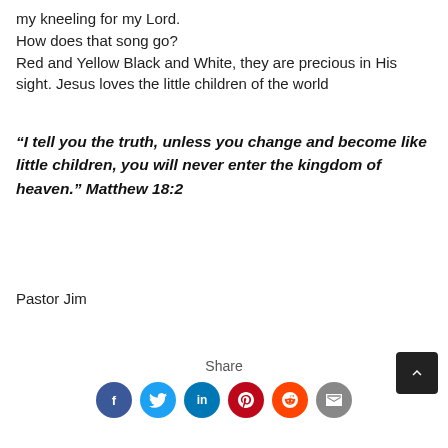my kneeling for my Lord.
How does that song go?
Red and Yellow Black and White, they are precious in His sight. Jesus loves the little children of the world
“I tell you the truth, unless you change and become like little children, you will never enter the kingdom of heaven.” Matthew 18:2
Pastor Jim
Share